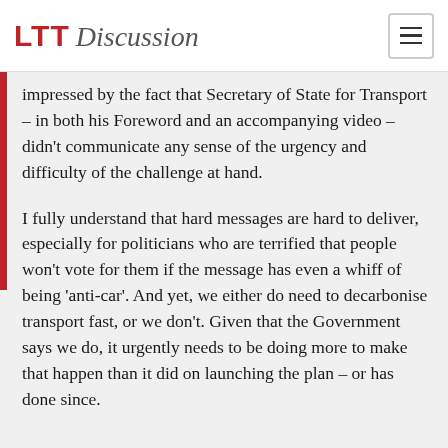LTT Discussion
Decarbonising Transport (LTT828, last July) and impressed by the fact that Secretary of State for Transport – in both his Foreword and an accompanying video – didn't communicate any sense of the urgency and difficulty of the challenge at hand.
I fully understand that hard messages are hard to deliver, especially for politicians who are terrified that people won't vote for them if the message has even a whiff of being 'anti-car'. And yet, we either do need to decarbonise transport fast, or we don't. Given that the Government says we do, it urgently needs to be doing more to make that happen than it did on launching the plan – or has done since.